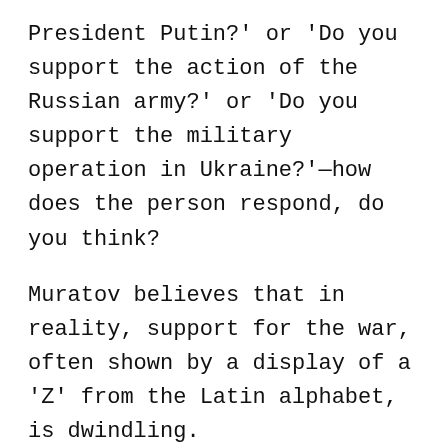President Putin?' or 'Do you support the action of the Russian army?' or 'Do you support the military operation in Ukraine?'—how does the person respond, do you think?
Muratov believes that in reality, support for the war, often shown by a display of a 'Z' from the Latin alphabet, is dwindling.
“If you walk through the streets of Moscow now, you will see that there are practically no ‘Z’s left on the streets.”
Moscow says it sent troops into Ukraine to